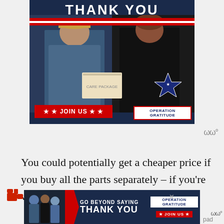[Figure (photo): Advertisement banner for Operation Gratitude showing a military service member in uniform receiving a care package box from a civilian woman. Text reads 'THANK YOU' at the top, '★ ★ JOIN US ★ ★' on a red button, and 'OPERATION GRATITUDE' logo on the right. Dark navy background with red and white stripe.]
You could potentially get a cheaper price if you buy all the parts separately – if you're willing
[Figure (photo): Bottom advertisement banner for Operation Gratitude. Shows people on left side, text 'GO BEYOND SAYING THANK YOU' in white on dark navy background, Operation Gratitude logo and JOIN US button on the right.]